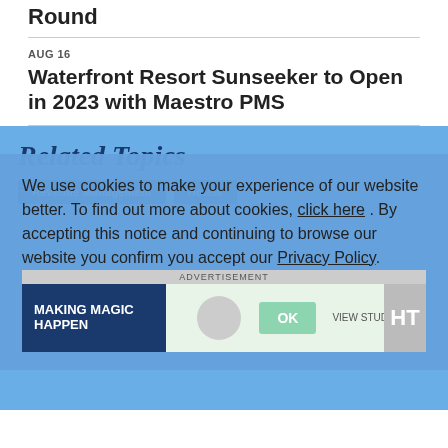Round
AUG 16
Waterfront Resort Sunseeker to Open in 2023 with Maestro PMS
Related Topics
Revenue Management
Hotels
We use cookies to make your experience of our website better. To find out more about cookies, click here . By accepting this notice and continuing to browse our website you confirm you accept our Privacy Policy .
ADVERTISEMENT
[Figure (screenshot): Advertisement banner: Making Magic Happen with OK button]